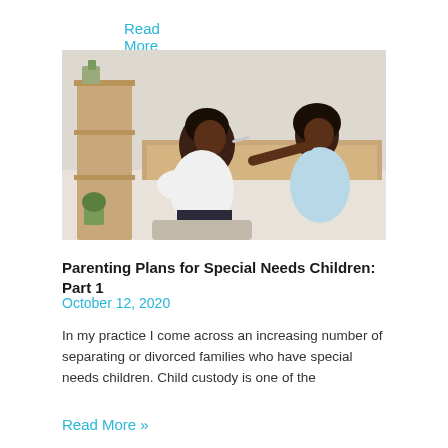Read More »
[Figure (photo): A Black woman sitting on a bed looks upward while a child uses a small brush or pencil near her face. The setting appears to be a bedroom with warm wooden furniture and a shelf in the background.]
Parenting Plans for Special Needs Children: Part 1
October 12, 2020
In my practice I come across an increasing number of separating or divorced families who have special needs children. Child custody is one of the
Read More »